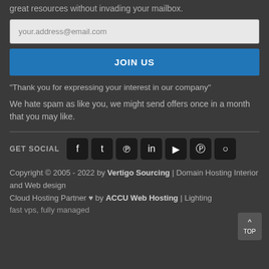great resources without invading your mailbox.
your.address@email.com
JOIN US
“Thank you for expressing your interest in our company”
We hate spam as like you, we might send offers once in a month that you may like.
GET SOCIAL
Copyright © 2005 - 2022 by Vertigo Sourcing | Domain Hosting Interior and Web design Cloud Hosting Partner ♥ by ACCU Web Hosting | Lighting fast vps, fully managed